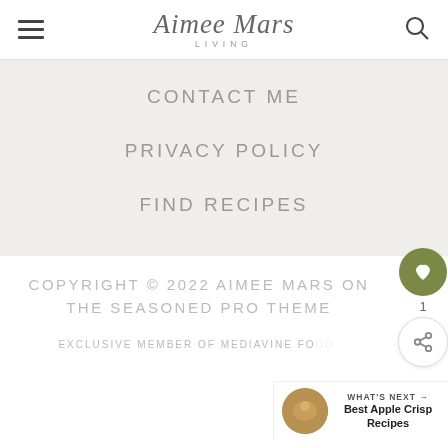Aimee Mars LIVING
CONTACT ME
PRIVACY POLICY
FIND RECIPES
COPYRIGHT © 2022 AIMEE MARS ON THE SEASONED PRO THEME
EXCLUSIVE MEMBER OF MEDIAVINE FO...
WHAT'S NEXT → Best Apple Crisp Recipes